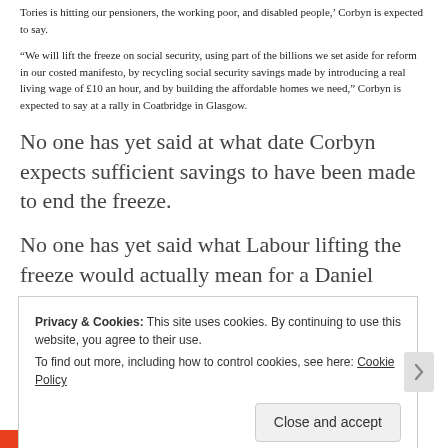Tories is hitting our pensioners, the working poor, and disabled people,' Corbyn is expected to say.
“We will lift the freeze on social security, using part of the billions we set aside for reform in our costed manifesto, by recycling social security savings made by introducing a real living wage of £10 an hour, and by building the affordable homes we need,” Corbyn is expected to say at a rally in Coatbridge in Glasgow.
No one has yet said at what date Corbyn expects sufficient savings to have been made to end the freeze.
No one has yet said what Labour lifting the freeze would actually mean for a Daniel Blake.
Privacy & Cookies: This site uses cookies. By continuing to use this website, you agree to their use.
To find out more, including how to control cookies, see here: Cookie Policy
Close and accept